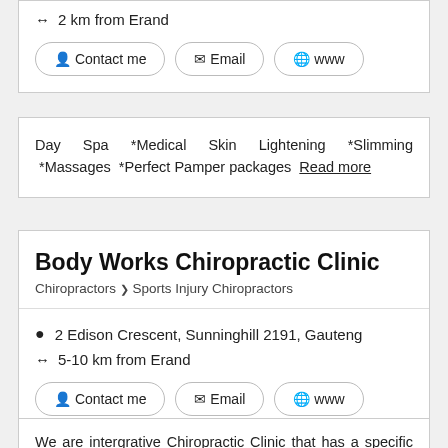↔ 2 km from Erand
Contact me
Email
www
Day Spa *Medical Skin Lightening *Slimming *Massages *Perfect Pamper packages  Read more
Body Works Chiropractic Clinic
Chiropractors > Sports Injury Chiropractors
2 Edison Crescent, Sunninghill 2191, Gauteng
↔ 5-10 km from Erand
Contact me
Email
www
We are intergrative Chiropractic Clinic that has a specific interest in Sports, Sports Family Health and Pediatrics. The clinic uses the best...